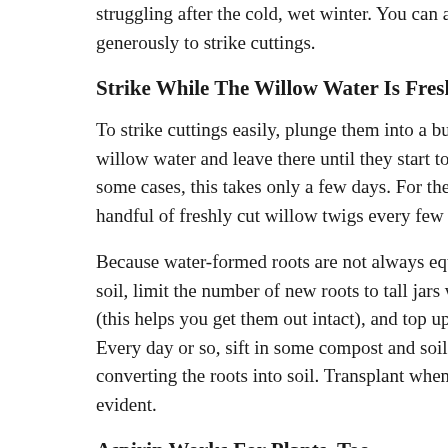struggling after the cold, wet winter. You can also use it generously to strike cuttings.
Strike While The Willow Water Is Fresh
To strike cuttings easily, plunge them into a bucket or large jar of willow water and leave there until they start to produce roots. In some cases, this takes only a few days. For the cuttings, add a handful of freshly cut willow twigs every few days.
Because water-formed roots are not always equipped to deal with soil, limit the number of new roots to tall jars with straight sides (this helps you get them out intact), and top up with willow water. Every day or so, sift in some compost and soil eventually converting the roots into soil. Transplant when new growth is evident.
Aspirin Works For Plants, Too
Recent research shows that many plants produce salicylic acid as a defense in small amounts. These benign compounds trigger natural protective responses, building stem strength and promoting denser, stronger foliage. Plants watered